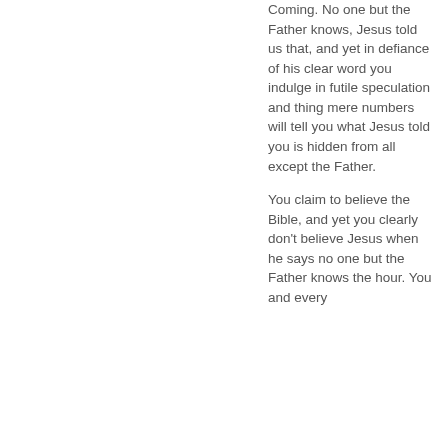Coming. No one but the Father knows, Jesus told us that, and yet in defiance of his clear word you indulge in futile speculation and thing mere numbers will tell you what Jesus told you is hidden from all except the Father.
You claim to believe the Bible, and yet you clearly don't believe Jesus when he says no one but the Father knows the hour. You and every